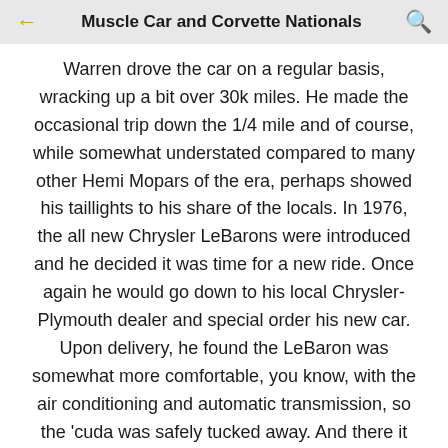Muscle Car and Corvette Nationals
Warren drove the car on a regular basis, wracking up a bit over 30k miles. He made the occasional trip down the 1/4 mile and of course, while somewhat understated compared to many other Hemi Mopars of the era, perhaps showed his taillights to his share of the locals. In 1976, the all new Chrysler LeBarons were introduced and he decided it was time for a new ride. Once again he would go down to his local Chrysler-Plymouth dealer and special order his new car. Upon delivery, he found the LeBaron was somewhat more comfortable, you know, with the air conditioning and automatic transmission, so the 'cuda was safely tucked away. And there it sat, for nearly 50 years! Yes...those in the know